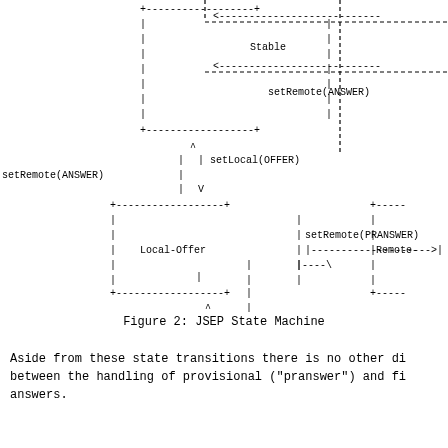[Figure (schematic): JSEP State Machine diagram (partial view) showing states: Stable, Local-Offer, Remote- (partial), with transitions labeled setRemote(ANSWER), setLocal(OFFER), setRemote(PRANSWER), setLocal(OFFER). Dashed-line boxes and arrows represent states and transitions.]
Figure 2: JSEP State Machine
Aside from these state transitions there is no other di between the handling of provisional ("pranswer") and fi answers.